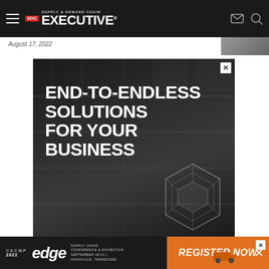Supply & Demand Chain Executive — navigation bar with hamburger menu, logo, mail and search icons
August 17, 2022
[Figure (infographic): Advertisement banner with dark warehouse/shelves background showing bold white text 'END-TO-END SOLUTIONS FOR YOUR BUSINESS' with geometric hexagon wireframe graphic in lower right corner and a white X close button in upper right.]
[Figure (infographic): Bottom banner advertisement for CSCMP 2022 Edge Supply Chain Conference & Exhibition, September 18-21, Nashville, Tennessee. Left dark section shows CSCMP Edge logo. Right orange section shows REGISTER NOW call to action with a truck graphic. Has X close buttons.]